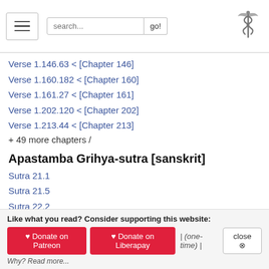search... go!
Verse 1.146.63 < [Chapter 146]
Verse 1.160.182 < [Chapter 160]
Verse 1.161.27 < [Chapter 161]
Verse 1.202.120 < [Chapter 202]
Verse 1.213.44 < [Chapter 213]
+ 49 more chapters /
Apastamba Grihya-sutra [sanskrit]
Sutra 21.1
Sutra 21.5
Sutra 22.2
Sutra 22.12
Bhagavad-gita with four Commentaries [sanskrit]
Verse 6.2
Verse 9.33
Verse 17.13
Like what you read? Consider supporting this website: ♥ Donate on Patreon  ♥ Donate on Liberapay  | (one-time) |  close ✕  Why? Read more...